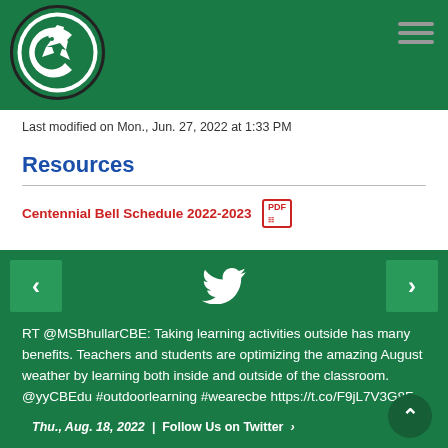[Figure (logo): Centennial school logo: circular green and black emblem with a wolf/coyote mascot]
Last modified on Mon., Jun. 27, 2022 at 1:33 PM
Resources
Centennial Bell Schedule 2022-2023 [PDF icon]
[Figure (screenshot): Twitter feed widget on green background with navigation arrows, Twitter bird icon, tweet text, and footer]
RT @MSBhullarCBE: Taking learning activities outside has many benefits. Teachers and students are optimizing the amazing August weather by learning both inside and outside of the classroom. @yyCBEdu #outdoorlearning #wearecbe https://t.co/F9jL7V3G8F
Thu., Aug. 18, 2022  |  Follow Us on Twitter  ›